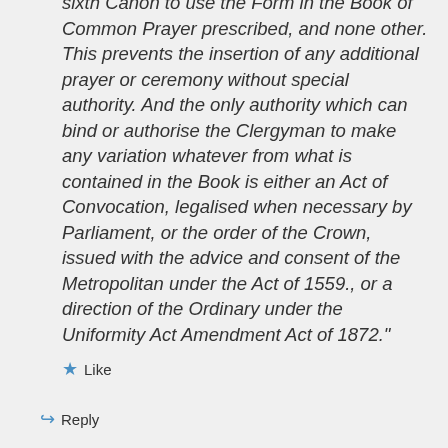sixth Canon to use the Form in the Book of Common Prayer prescribed, and none other. This prevents the insertion of any additional prayer or ceremony without special authority. And the only authority which can bind or authorise the Clergyman to make any variation whatever from what is contained in the Book is either an Act of Convocation, legalised when necessary by Parliament, or the order of the Crown, issued with the advice and consent of the Metropolitan under the Act of 1559., or a direction of the Ordinary under the Uniformity Act Amendment Act of 1872."
Like
Reply